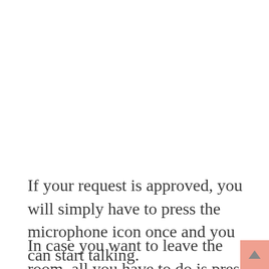If your request is approved, you will simply have to press the microphone icon once and you can start talking.
In case you want to leave the room, all you have to do is press the “Exit” button located in the upper right corner of the screen. In this way, we return to the Twitter timeline.